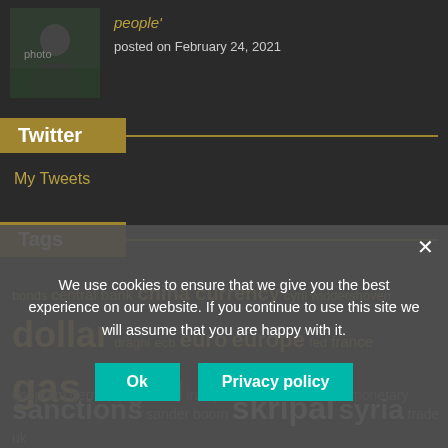[Figure (photo): Profile photo of a person outdoors with plants in background]
people'
posted on February 24, 2021
Twitter
My Tweets
Tags
bonds central bank china currency cyril widdershoven dollar draghi ecb euro europe fed france gas
gazprom germany gold iran jaco schipper macron monetary
paris pipeline poison russia
sanctions sander boom skripal syria trade uk
We use cookies to ensure that we give you the best experience on our website. If you continue to use this site we will assume that you are happy with it.